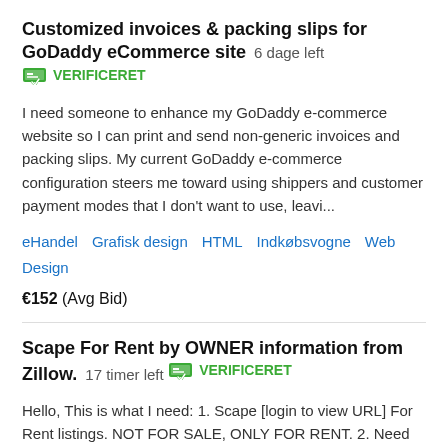Customized invoices & packing slips for GoDaddy eCommerce site  6 dage left  VERIFICERET
I need someone to enhance my GoDaddy e-commerce website so I can print and send non-generic invoices and packing slips. My current GoDaddy e-commerce configuration steers me toward using shippers and customer payment modes that I don't want to use, leavi...
eHandel   Grafisk design   HTML   Indkøbsvogne   Web Design
€152  (Avg Bid)
Scape For Rent by OWNER information from Zillow.  17 timer left  VERIFICERET
Hello, This is what I need: 1. Scape [login to view URL] For Rent listings. NOT FOR SALE, ONLY FOR RENT. 2. Need OWNERS only, not property managers. 3. Need you to